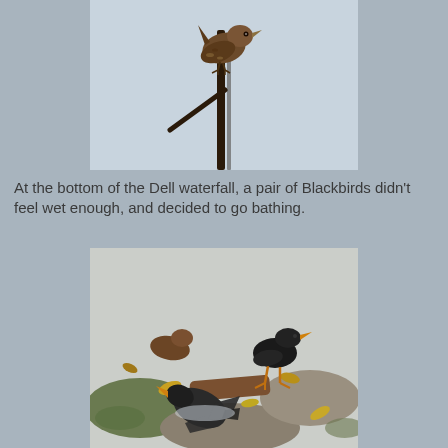[Figure (photo): A small brown wren-like bird perched on a dark vertical stick or stem against a light blue-grey sky background.]
At the bottom of the Dell waterfall, a pair of Blackbirds didn't feel wet enough, and decided to go bathing.
[Figure (photo): Two blackbirds bathing at the bottom of a waterfall among wet rocks, leaves, and mossy stones. One black bird stands upright while another appears to be splashing in the water.]